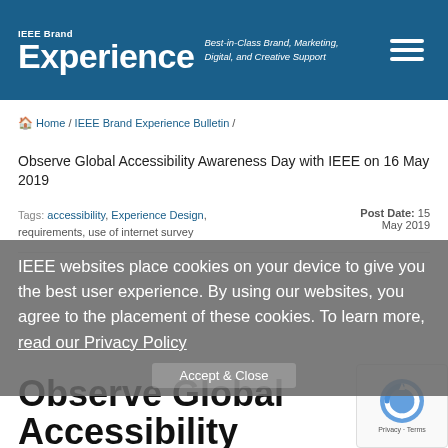IEEE Brand Experience — Best-in-Class Brand, Marketing, Digital, and Creative Support
Home / IEEE Brand Experience Bulletin /
Observe Global Accessibility Awareness Day with IEEE on 16 May 2019
Tags: accessibility, Experience Design, requirements, use of internet survey  Post Date: 15 May 2019
IEEE websites place cookies on your device to give you the best user experience. By using our websites, you agree to the placement of these cookies. To learn more, read our Privacy Policy
Accept & Close
Observe Global Accessibility Awareness Day with IEEE on 16 May 2019